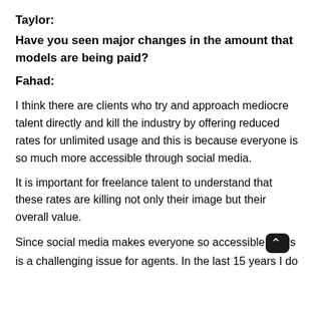Taylor:
Have you seen major changes in the amount that models are being paid?
Fahad:
I think there are clients who try and approach mediocre talent directly and kill the industry by offering reduced rates for unlimited usage and this is because everyone is so much more accessible through social media.
It is important for freelance talent to understand that these rates are killing not only their image but their overall value.
Since social media makes everyone so accessible this is a challenging issue for agents. In the last 15 years I do